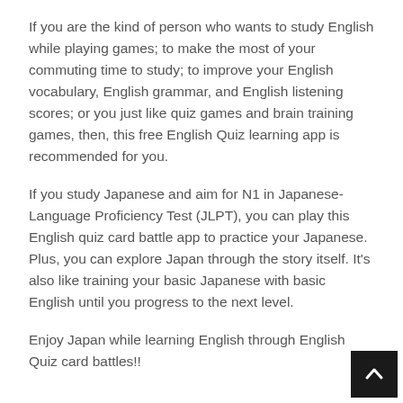If you are the kind of person who wants to study English while playing games; to make the most of your commuting time to study; to improve your English vocabulary, English grammar, and English listening scores; or you just like quiz games and brain training games, then, this free English Quiz learning app is recommended for you.
If you study Japanese and aim for N1 in Japanese-Language Proficiency Test (JLPT), you can play this English quiz card battle app to practice your Japanese. Plus, you can explore Japan through the story itself. It's also like training your basic Japanese with basic English until you progress to the next level.
Enjoy Japan while learning English through English Quiz card battles!!